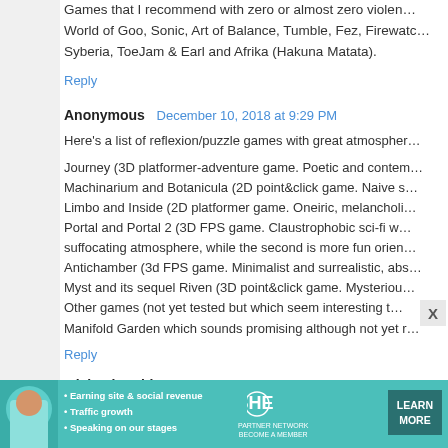Games that I recommend with zero or almost zero violence: World of Goo, Sonic, Art of Balance, Tumble, Fez, Firewatch, Syberia, ToeJam & Earl and Afrika (Hakuna Matata).
Reply
Anonymous  December 10, 2018 at 9:29 PM
Here's a list of reflexion/puzzle games with great atmosphere Journey (3D platformer-adventure game. Poetic and contemporary) Machinarium and Botanicula (2D point&click game. Naive s...) Limbo and Inside (2D platformer game. Oneiric, melancholi...) Portal and Portal 2 (3D FPS game. Claustrophobic sci-fi w... suffocating atmosphere, while the second is more fun orien...) Antichamber (3d FPS game. Minimalist and surrealistic, abs...) Myst and its sequel Riven (3D point&click game. Mysteriou...) Other games (not yet tested but which seem interesting t...) Manifold Garden which sounds promising although not yet r...
Reply
Michael Smith  August 5, 2020 at 6:21 AM
I truly like this gaming fringe since it makes me simp... https://b-game.net
[Figure (infographic): SHE Partner Network advertisement banner with woman photo, bullet points about Earning site & social revenue, Traffic growth, Speaking on our stages, SHE logo, and LEARN MORE button]